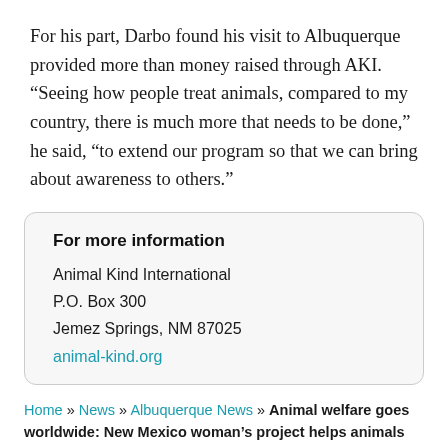For his part, Darbo found his visit to Albuquerque provided more than money raised through AKI. “Seeing how people treat animals, compared to my country, there is much more that needs to be done,” he said, “to extend our program so that we can bring about awareness to others.”
For more information
Animal Kind International
P.O. Box 300
Jemez Springs, NM 87025
animal-kind.org
Home » News » Albuquerque News » Animal welfare goes worldwide: New Mexico woman’s project helps animals